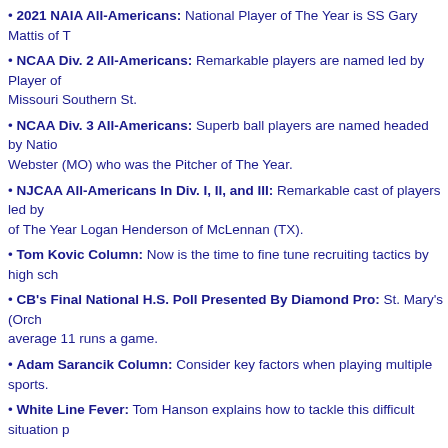2021 NAIA All-Americans: National Player of The Year is SS Gary Mattis of T…
NCAA Div. 2 All-Americans: Remarkable players are named led by Player of… Missouri Southern St.
NCAA Div. 3 All-Americans: Superb ball players are named headed by Natio… Webster (MO) who was the Pitcher of The Year.
NJCAA All-Americans In Div. I, II, and III: Remarkable cast of players led by… of The Year Logan Henderson of McLennan (TX).
Tom Kovic Column: Now is the time to fine tune recruiting tactics by high sch…
CB's Final National H.S. Poll Presented By Diamond Pro: St. Mary's (Orch… average 11 runs a game.
Adam Sarancik Column: Consider key factors when playing multiple sports.
White Line Fever: Tom Hanson explains how to tackle this difficult situation p…
To purchase the July 16, 2021 edition of Collegiate Baseball o…